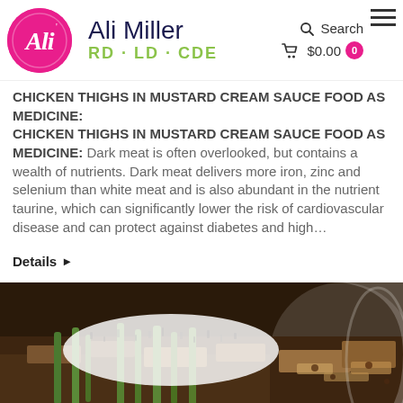[Figure (logo): Ali Miller RD·LD·CDE website header with circular pink logo, brand name, search icon, cart showing $0.00, and hamburger menu]
CHICKEN THIGHS IN MUSTARD CREAM SAUCE FOOD AS MEDICINE:
Dark meat is often overlooked, but contains a wealth of nutrients. Dark meat delivers more iron, zinc and selenium than white meat and is also abundant in the nutrient taurine, which can significantly lower the risk of cardiovascular disease and can protect against diabetes and high…
Details ▶
[Figure (photo): Close-up photo of a food dish — appears to be a casserole or grain dish with green vegetables and grated white cheese on top]